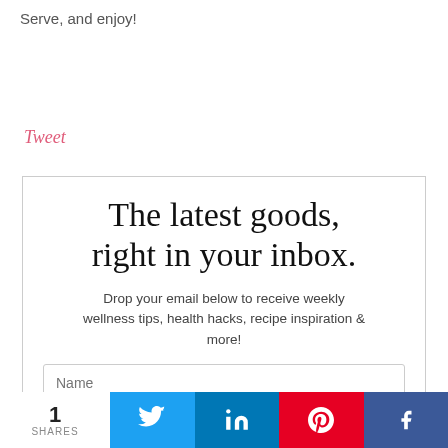Serve, and enjoy!
Tweet
The latest goods, right in your inbox.
Drop your email below to receive weekly wellness tips, health hacks, recipe inspiration & more!
Name
1 SHARES | Twitter | in LinkedIn | Pinterest | Facebook